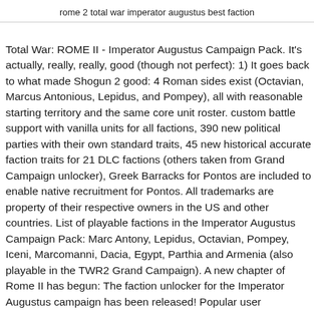rome 2 total war imperator augustus best faction
Total War: ROME II - Imperator Augustus Campaign Pack. It's actually, really, really, good (though not perfect): 1) It goes back to what made Shogun 2 good: 4 Roman sides exist (Octavian, Marcus Antonious, Lepidus, and Pompey), all with reasonable starting territory and the same core unit roster. custom battle support with vanilla units for all factions, 390 new political parties with their own standard traits, 45 new historical accurate faction traits for 21 DLC factions (others taken from Grand Campaign unlocker), Greek Barracks for Pontos are included to enable native recruitment for Pontos. All trademarks are property of their respective owners in the US and other countries. List of playable factions in the Imperator Augustus Campaign Pack: Marc Antony, Lepidus, Octavian, Pompey, Iceni, Marcomanni, Dacia, Egypt, Parthia and Armenia (also playable in the TWR2 Grand Campaign). A new chapter of Rome II has begun: The faction unlocker for the Imperator Augustus campaign has been released! Popular user